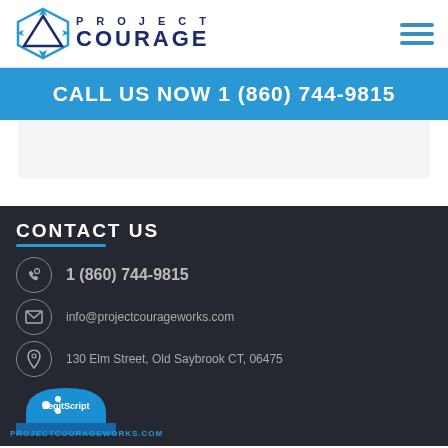[Figure (logo): Project Courage logo with geometric triangle/compass rose icon in blue, and text PROJECT COURAGE in dark navy]
CALL US NOW 1 (860) 744-9815
CONTACT US
1 (860) 744-9815
info@projectcourageworks.com
130 Elm Street, Old Saybrook CT, 06475
[Figure (logo): LegitScript badge/seal in blue with dots icon and text LegitScript]
PROJECTCOURAGEWORKS.COM